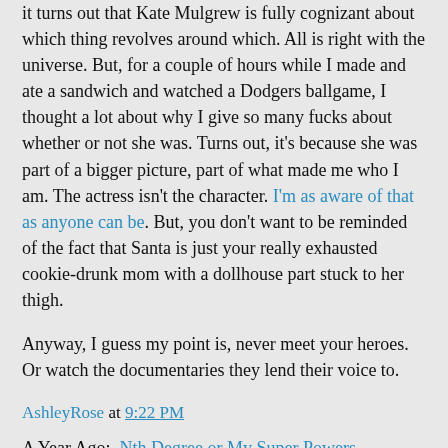it turns out that Kate Mulgrew is fully cognizant about which thing revolves around which. All is right with the universe. But, for a couple of hours while I made and ate a sandwich and watched a Dodgers ballgame, I thought a lot about why I give so many fucks about whether or not she was. Turns out, it's because she was part of a bigger picture, part of what made me who I am. The actress isn't the character. I'm as aware of that as anyone can be. But, you don't want to be reminded of the fact that Santa is just your really exhausted cookie-drunk mom with a dollhouse part stuck to her thigh.
Anyway, I guess my point is, never meet your heroes. Or watch the documentaries they lend their voice to.
A Year Ago:  Nth Degree or My Super Powers
AshleyRose at 9:22 PM